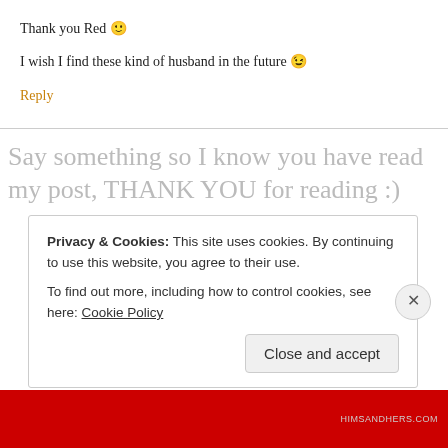Thank you Red 🙂
I wish I find these kind of husband in the future 😉
Reply
Say something so I know you have read my post, THANK YOU for reading :)
Privacy & Cookies: This site uses cookies. By continuing to use this website, you agree to their use.
To find out more, including how to control cookies, see here: Cookie Policy